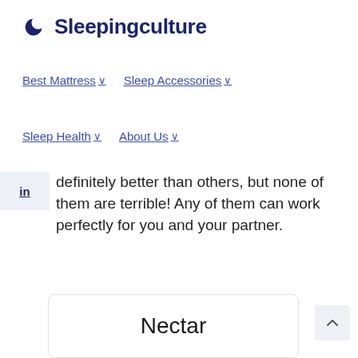🌙 Sleepingculture
Best Mattress ∨   Sleep Accessories ∨
Sleep Health ∨   About Us ∨
definitely better than others, but none of them are terrible! Any of them can work perfectly for you and your partner.
Nectar